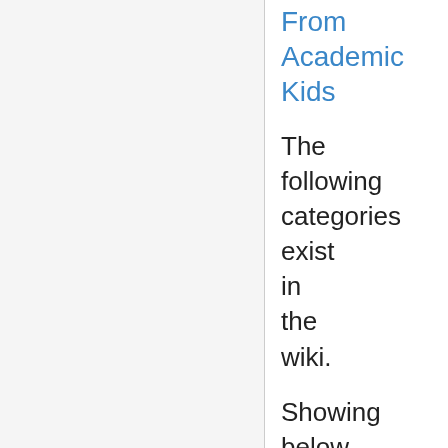From Academic Kids
The following categories exist in the wiki.
Showing below up